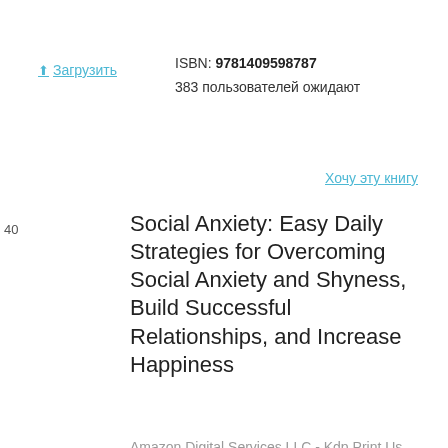↑ Загрузить
ISBN: 9781409598787
383 пользователей ожидают
Хочу эту книгу
40
Social Anxiety: Easy Daily Strategies for Overcoming Social Anxiety and Shyness, Build Successful Relationships, and Increase Happiness
Amazon Digital Services LLC - Kdp Print Us
James Williams